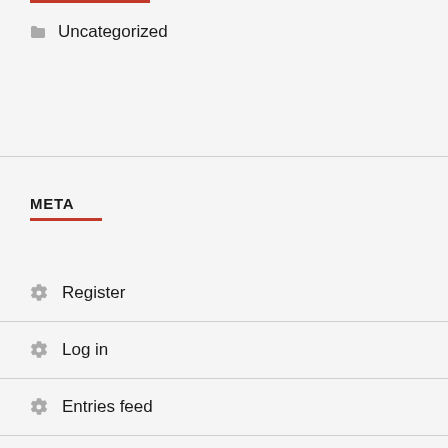Uncategorized
META
Register
Log in
Entries feed
Comments feed